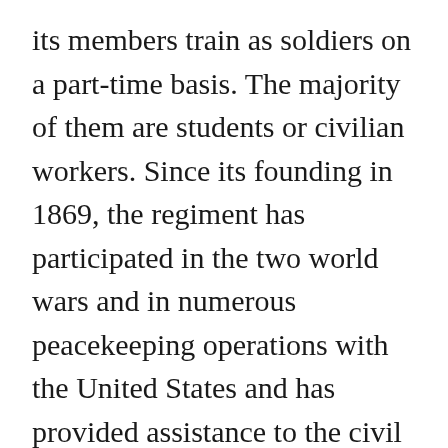its members train as soldiers on a part-time basis. The majority of them are students or civilian workers. Since its founding in 1869, the regiment has participated in the two world wars and in numerous peacekeeping operations with the United States and has provided assistance to the civil authorities in operations such as the ice storm. The regiment today has over 200 members, divided into three companies located in the cities of Rivière-du-Loup, Rimouski and Matane. As a Reserve unit, the role of Les Fusiliers du St-Laurent is to support the Regular Force in fulfilling Canada's defence